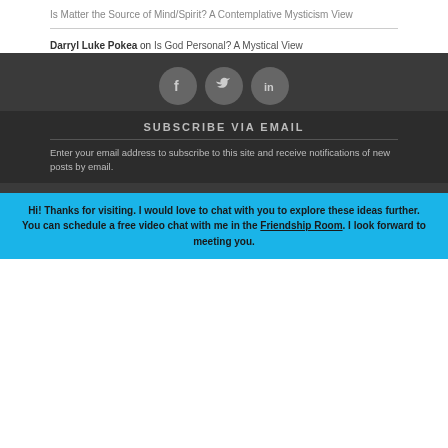Is Matter the Source of Mind/Spirit? A Contemplative Mysticism View
Darryl Luke Pokea on Is God Personal? A Mystical View
[Figure (infographic): Three circular social media icons in grey: Facebook (f), Twitter (bird), LinkedIn (in)]
SUBSCRIBE VIA EMAIL
Enter your email address to subscribe to this site and receive notifications of new posts by email.
Hi! Thanks for visiting. I would love to chat with you to explore these ideas further. You can schedule a free video chat with me in the Friendship Room. I look forward to meeting you.